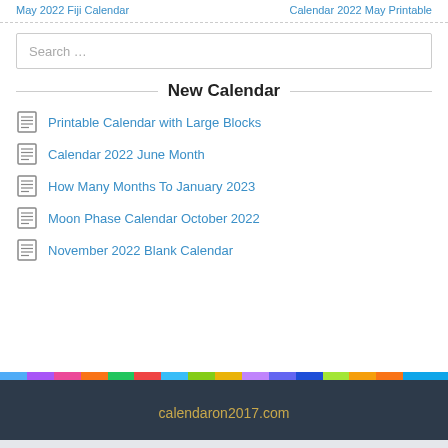May 2022 Fiji Calendar   Calendar 2022 May Printable
New Calendar
Printable Calendar with Large Blocks
Calendar 2022 June Month
How Many Months To January 2023
Moon Phase Calendar October 2022
November 2022 Blank Calendar
calendaron2017.com